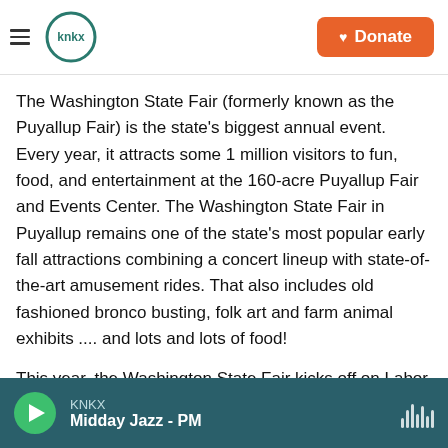KNKX | Donate
The Washington State Fair (formerly known as the Puyallup Fair) is the state's biggest annual event. Every year, it attracts some 1 million visitors to fun, food, and entertainment at the 160-acre Puyallup Fair and Events Center. The Washington State Fair in Puyallup remains one of the state's most popular early fall attractions combining a concert lineup with state-of-the-art amusement rides. That also includes old fashioned bronco busting, folk art and farm animal exhibits .... and lots and lots of food!
This year, the Washington State Fair kicks off on Labor Day weekend and ends on Sunday, September 25, 2022. As usual, the fair will be closed each Tuesday throughout its three-week run.
KNKX — Midday Jazz - PM